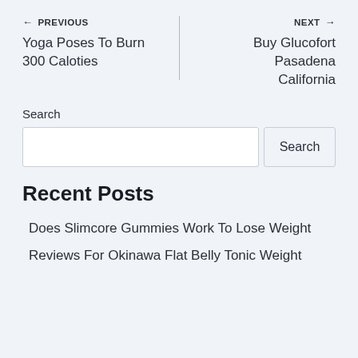← PREVIOUS
Yoga Poses To Burn 300 Caloties
NEXT →
Buy Glucofort Pasadena California
Search
Recent Posts
Does Slimcore Gummies Work To Lose Weight
Reviews For Okinawa Flat Belly Tonic Weight